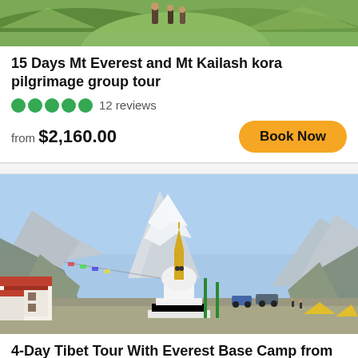[Figure (photo): Top portion of hikers on a green mountainous trail, partially cropped]
15 Days Mt Everest and Mt Kailash kora pilgrimage group tour
12 reviews
from $2,160.00
[Figure (photo): Everest Base Camp area showing a Buddhist stupa in the foreground with Mt. Everest snow-capped peak and monastery buildings in the valley]
4-Day Tibet Tour With Everest Base Camp from Lhasa
13 reviews